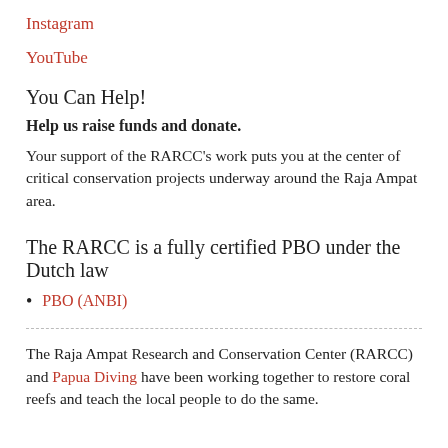Instagram
YouTube
You Can Help!
Help us raise funds and donate.
Your support of the RARCC's work puts you at the center of critical conservation projects underway around the Raja Ampat area.
The RARCC is a fully certified PBO under the Dutch law
PBO (ANBI)
The Raja Ampat Research and Conservation Center (RARCC) and Papua Diving have been working together to restore coral reefs and teach the local people to do the same.